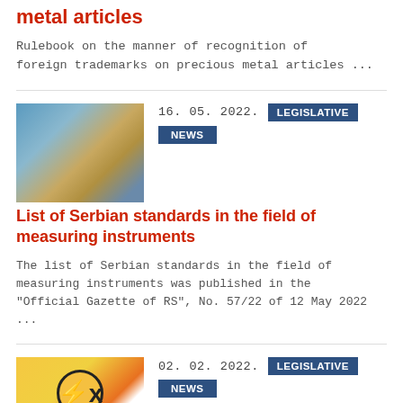metal articles
Rulebook on the manner of recognition of foreign trademarks on precious metal articles ...
16. 05. 2022.
LEGISLATIVE NEWS
[Figure (photo): Close-up photo of a water meter with blue casing]
List of Serbian standards in the field of measuring instruments
The list of Serbian standards in the field of measuring instruments was published in the "Official Gazette of RS", No. 57/22 of 12 May 2022 ...
02. 02. 2022.
LEGISLATIVE NEWS
[Figure (photo): ATEX explosion protection warning symbol on yellow background]